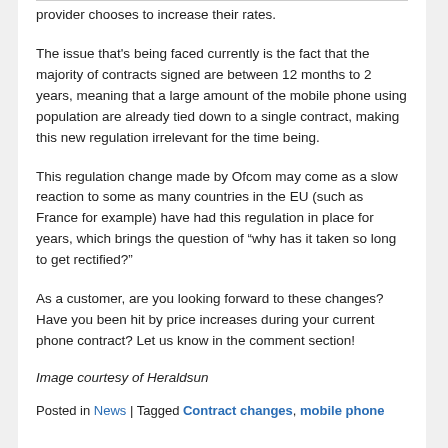provider chooses to increase their rates.
The issue that's being faced currently is the fact that the majority of contracts signed are between 12 months to 2 years, meaning that a large amount of the mobile phone using population are already tied down to a single contract, making this new regulation irrelevant for the time being.
This regulation change made by Ofcom may come as a slow reaction to some as many countries in the EU (such as France for example) have had this regulation in place for years, which brings the question of “why has it taken so long to get rectified?”
As a customer, are you looking forward to these changes? Have you been hit by price increases during your current phone contract? Let us know in the comment section!
Image courtesy of Heraldsun
Posted in News | Tagged Contract changes, mobile phone